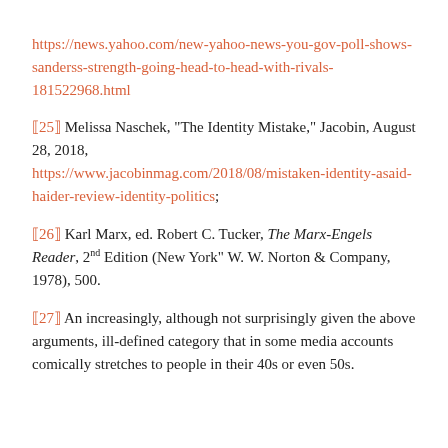https://news.yahoo.com/new-yahoo-news-you-gov-poll-shows-sanderss-strength-going-head-to-head-with-rivals-181522968.html
[25] Melissa Naschek, "The Identity Mistake," Jacobin, August 28, 2018, https://www.jacobinmag.com/2018/08/mistaken-identity-asaid-haider-review-identity-politics;
[26] Karl Marx, ed. Robert C. Tucker, The Marx-Engels Reader, 2nd Edition (New York" W. W. Norton & Company, 1978), 500.
[27] An increasingly, although not surprisingly given the above arguments, ill-defined category that in some media accounts comically stretches to people in their 40s or even 50s.